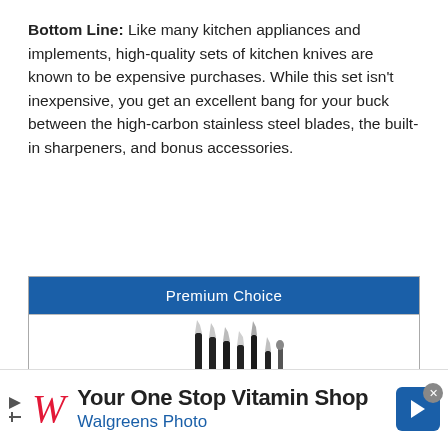Bottom Line: Like many kitchen appliances and implements, high-quality sets of kitchen knives are known to be expensive purchases. While this set isn't inexpensive, you get an excellent bang for your buck between the high-carbon stainless steel blades, the built-in sharpeners, and bonus accessories.
[Figure (other): Product box with blue header 'Premium Choice' and image of a knife block set with multiple black-handled knives in a wooden block]
[Figure (other): Advertisement banner for Walgreens Photo: 'Your One Stop Vitamin Shop' with Walgreens logo (red italic W), blue tagline 'Walgreens Photo', and blue navigation arrow icon]